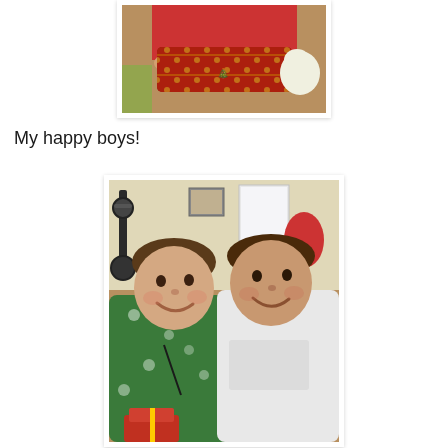[Figure (photo): Partial photo from above showing person in red shirt holding Christmas-wrapped gifts with holiday decorations]
My happy boys!
[Figure (photo): Two smiling boys sitting together at Christmas time, one wearing green holiday pajamas and one wearing a white t-shirt, with Christmas gifts and decorations around them]